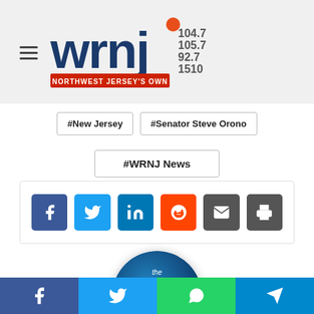[Figure (logo): WRNJ radio station logo - Northwest Jersey's Own, frequencies 104.7, 105.7, 92.7, 1510]
#New Jersey
#Senator Steve Orono
#WRNJ News
[Figure (infographic): Social share buttons: Facebook, Twitter, LinkedIn, Reddit, Email, Print]
[Figure (photo): The Jay Edwards Program circular logo with WRNJ branding on blue background]
Jay Edwards
[Figure (infographic): Bottom share bar with Facebook, Twitter, WhatsApp, Telegram icons]